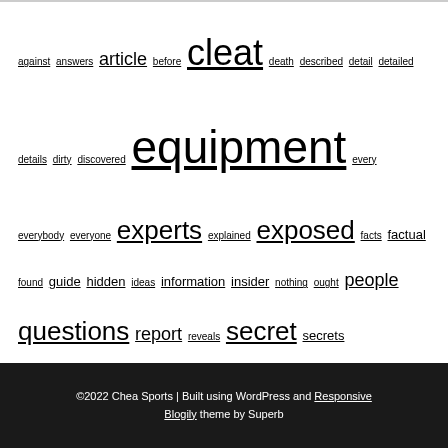against answers article before cleat death described detail detailed details dirty discovered equipment every everybody everyone experts explained exposed facts factual found guide hidden ideas information insider nothing ought people questions report reveals secret secrets soccer sports starting statements strategies strategy technique trick truth wrestling
©2022 Chea Sports | Built using WordPress and Responsive Blogily theme by Superb